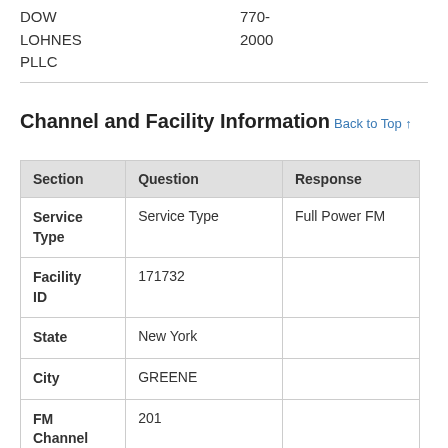DOW LOHNES PLLC  770-  2000
Channel and Facility Information
| Section | Question | Response |
| --- | --- | --- |
| Service Type | Service Type | Full Power FM |
| Facility ID | 171732 |  |
| State | New York |  |
| City | GREENE |  |
| FM Channel | 201 |  |